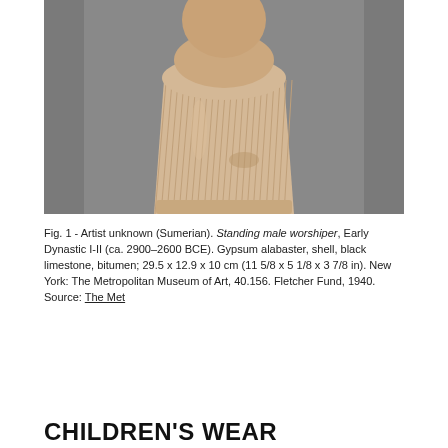[Figure (photo): Photograph of a Sumerian gypsum alabaster standing male worshiper sculpture, showing a truncated torso with ribbed/fluted skirt detail, on a gray background. The figure appears pale beige/cream colored.]
Fig. 1 - Artist unknown (Sumerian). Standing male worshiper, Early Dynastic I-II (ca. 2900–2600 BCE). Gypsum alabaster, shell, black limestone, bitumen; 29.5 x 12.9 x 10 cm (11 5/8 x 5 1/8 x 3 7/8 in). New York: The Metropolitan Museum of Art, 40.156. Fletcher Fund, 1940. Source: The Met
CHILDREN'S WEAR